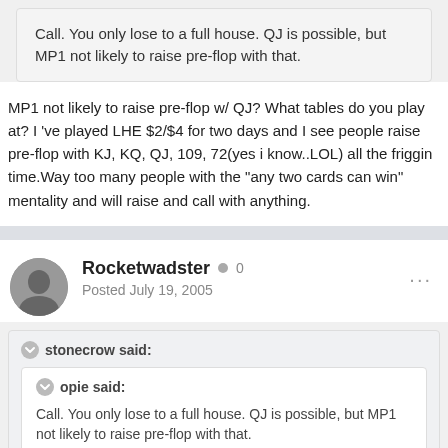Call. You only lose to a full house. QJ is possible, but MP1 not likely to raise pre-flop with that.
MP1 not likely to raise pre-flop w/ QJ? What tables do you play at? I 've played LHE $2/$4 for two days and I see people raise pre-flop with KJ, KQ, QJ, 109, 72(yes i know..LOL) all the friggin time. Way too many people with the "any two cards can win" mentality and will raise and call with anything.
Rocketwadster
Posted July 19, 2005
stonecrow said:
opie said:
Call. You only lose to a full house. QJ is possible, but MP1 not likely to raise pre-flop with that.